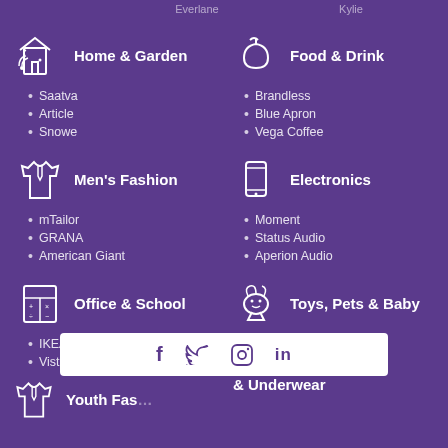Everlane
Kylie
Home & Garden
• Saatva
• Article
• Snowe
Food & Drink
• Brandless
• Blue Apron
• Vega Coffee
Men's Fashion
• mTailor
• GRANA
• American Giant
Electronics
• Moment
• Status Audio
• Aperion Audio
Office & School
• IKEA
• Vistaprint
• Brandless
Toys, Pets & Baby
• Primary
• The Farmer's Dog
• Ollie
Fashion Accessories
• Vrai & Oro
• AUrate
• WP Stand…
Auto & Industry
• Tesla
• Polestar
• Uline
[Figure (infographic): Social share bar with icons for Facebook, Twitter, Pinterest, LinkedIn on white rounded rectangle overlay]
Youth Fashion… & Underwear